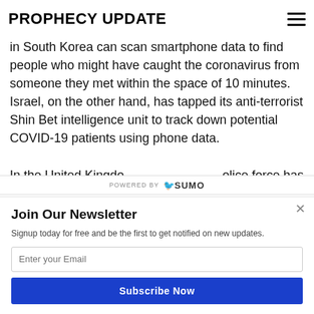PROPHECY UPDATE
in South Korea can scan smartphone data to find people who might have caught the coronavirus from someone they met within the space of 10 minutes. Israel, on the other hand, has tapped its anti-terrorist Shin Bet intelligence unit to track down potential COVID-19 patients using phone data.
In the United Kingdom, ... police force has
Join Our Newsletter
Signup today for free and be the first to get notified on new updates.